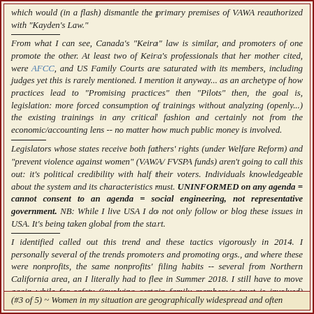which would (in a flash) dismantle the primary premises of VAWA reauthorized with "Kayden's Law."
From what I can see, Canada's "Keira" law is similar, and promoters of one promote the other. At least two of Keira's professionals that her mother cited, were AFCC, and US Family Courts are saturated with its members, including judges yet this is rarely mentioned. I mention it anyway... as an archetype of how practices lead to "Promising practices" then "Pilots" then, the goal is, legislation: more forced consumption of trainings without analyzing (openly...) the existing trainings in any critical fashion and certainly not from the economic/accounting lens -- no matter how much public money is involved.
Legislators whose states receive both fathers' rights (under Welfare Reform) and "prevent violence against women" (VAWA/ FVSPA funds) aren't going to call this out: it's political credibility with half their voters. Individuals knowledgeable about the system and its characteristics must. UNINFORMED on any agenda = cannot consent to an agenda = social engineering, not representative government. NB: While I live USA I do not only follow or blog these issues in USA. It's being taken global from the start.
I identified called out this trend and these tactics vigorously in 2014. I personally several of the trends promoters and promoting orgs., and where these were nonprofits, the same nonprofits' filing habits -- several from Northern California area, an I literally had to flee in Summer 2018. I still have to move again while for safety (involving certain family members/a trust is involved) maintain privacy. After this next move, which intends to at least halve living expenses (and get to where I can raise a few vegetables at least!) publish at least from this blog, and form a nonprofit, finally. But, I will NOT be peddling curricula or "train-the-trainer" trade-marked certifications or trade associations.
(#3 of 5) ~ Women in my situation are geographically widespread and often